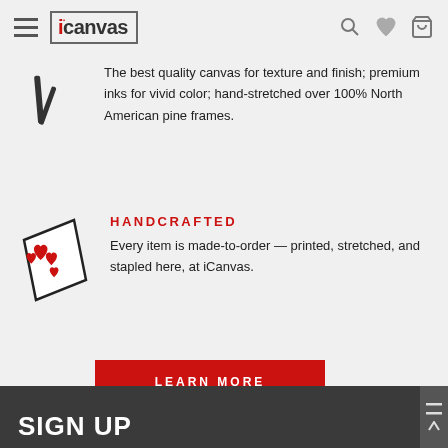iCanvas navigation header with hamburger menu, logo, search, heart, and cart icons
The best quality canvas for texture and finish; premium inks for vivid color; hand-stretched over 100% North American pine frames.
[Figure (illustration): Icon of canvas stretcher bars/frame pieces]
HANDCRAFTED
Every item is made-to-order — printed, stretched, and stapled here, at iCanvas.
[Figure (illustration): Icon of a canvas print with red heart shapes on it, shown in perspective]
LEARN MORE
SIGN UP